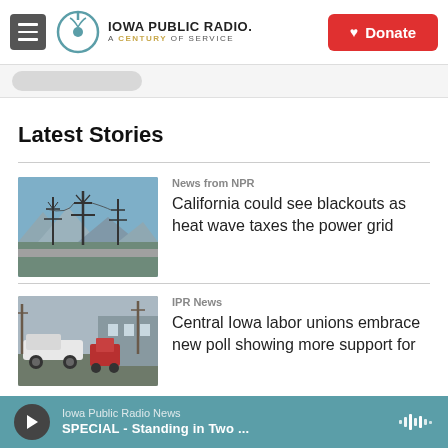Iowa Public Radio. A Century of Service. Donate
Latest Stories
News from NPR
California could see blackouts as heat wave taxes the power grid
[Figure (photo): Power transmission towers and electricity lines against a blue sky with mountains in background]
IPR News
Central Iowa labor unions embrace new poll showing more support for
[Figure (photo): Trucks and red equipment at a parking area, overcast sky]
Iowa Public Radio News — SPECIAL - Standing in Two ...